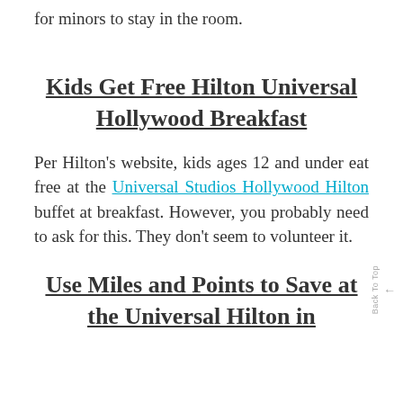for minors to stay in the room.
Kids Get Free Hilton Universal Hollywood Breakfast
Per Hilton's website, kids ages 12 and under eat free at the Universal Studios Hollywood Hilton buffet at breakfast. However, you probably need to ask for this. They don't seem to volunteer it.
Use Miles and Points to Save at the Universal Hilton in